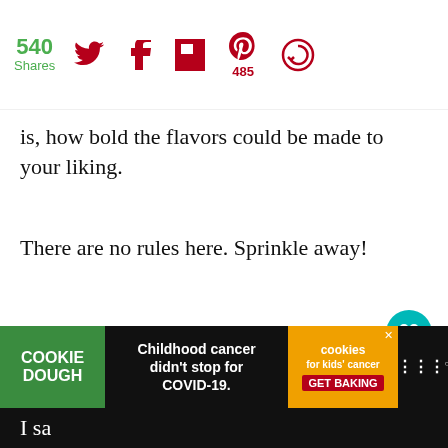540 Shares | Twitter | Facebook | Flipboard | Pinterest 485 | Save
is, how bold the flavors could be made to your liking.
There are no rules here. Sprinkle away!
You add as much or less of what you like or any of the ingredients listed.
[Figure (infographic): What's Next panel showing Italian Style Goulash with thumbnail image]
[Figure (infographic): Cookie Dough advertisement banner: Childhood cancer didn't stop for COVID-19. GET BAKING.]
I sa